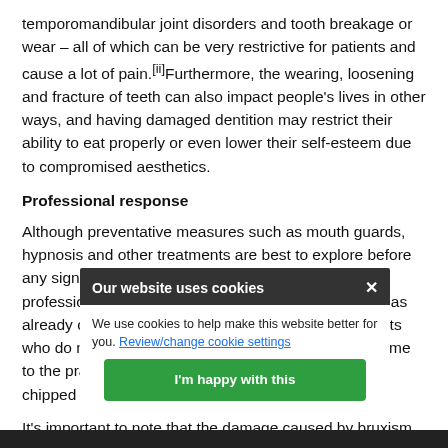temporomandibular joint disorders and tooth breakage or wear – all of which can be very restrictive for patients and cause a lot of pain.[ii]Furthermore, the wearing, loosening and fracture of teeth can also impact people's lives in other ways, and having damaged dentition may restrict their ability to eat properly or even lower their self-esteem due to compromised aesthetics.
Professional response
Although preventative measures such as mouth guards, hypnosis and other treatments are best to explore before any significant damage has occurred, it is likely that professionals will encounter patients where damage has already occurred. This is especially common in patients who do not attend regular check-ups and who only come to the practice following a specific problem such as a chipped tooth.
It's important to note that the damage caused by bruxism will